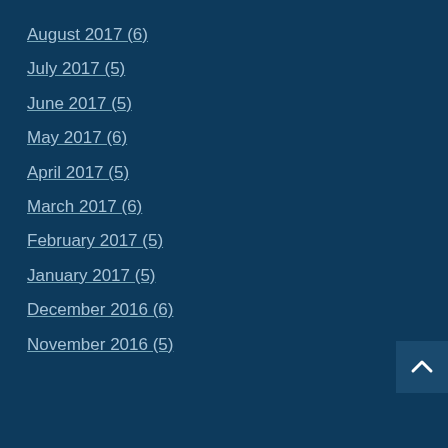August 2017 (6)
July 2017 (5)
June 2017 (5)
May 2017 (6)
April 2017 (5)
March 2017 (6)
February 2017 (5)
January 2017 (5)
December 2016 (6)
November 2016 (5)